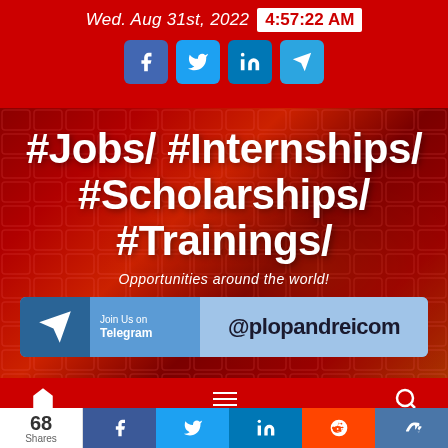Wed. Aug 31st, 2022  4:57:22 AM
[Figure (infographic): Social media website header with hashtag categories: #Jobs/ #Internships/ #Scholarships/ #Trainings/ over a red keyboard background, with subtitle 'Opportunities around the world!' and Telegram banner '@plopandreicom']
68 Shares — social share buttons: Facebook, Twitter, LinkedIn, Reddit, VK